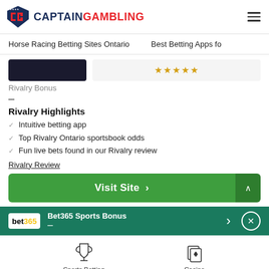CaptainGambling — Horse Racing Betting Sites Ontario | Best Betting Apps fo
Rivalry Bonus
–
Rivalry Highlights
Intuitive betting app
Top Rivalry Ontario sportsbook odds
Fun live bets found in our Rivalry review
Rivalry Review
Visit Site
Bet365 Sports Bonus
[Figure (other): Sports Betting icon with trophy]
[Figure (other): Casino icon with playing cards]